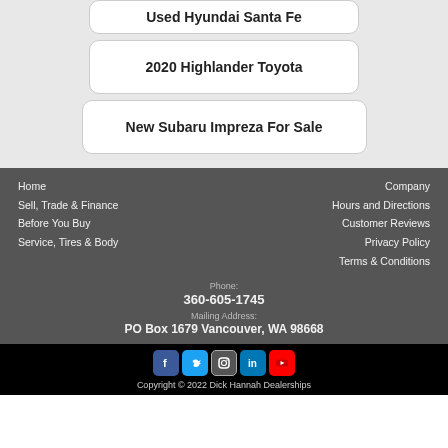Used Hyundai Santa Fe
2020 Highlander Toyota
New Subaru Impreza For Sale
Home
Sell, Trade & Finance
Before You Buy
Service, Tires & Body
Company
Hours and Directions
Customer Reviews
Privacy Policy
Terms & Conditions
Phone: 360-605-1745
Mailing Address: PO Box 1679 Vancouver, WA 98668
Copyright © 2022 Dick Hannah Dealerships